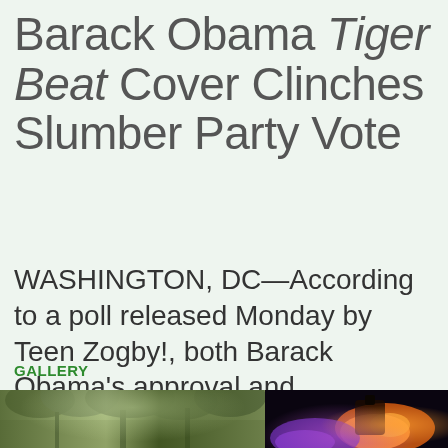Barack Obama Tiger Beat Cover Clinches Slumber Party Vote
WASHINGTON, DC—According to a poll released Monday by Teen Zogby!, both Barack Obama's approval and dreaminess ratings...
GALLERY
[Figure (photo): Two photos side by side: left shows trees with foliage against sky (dark silhouette style); right shows a nighttime scene with orange fire/flame and purple lighting]